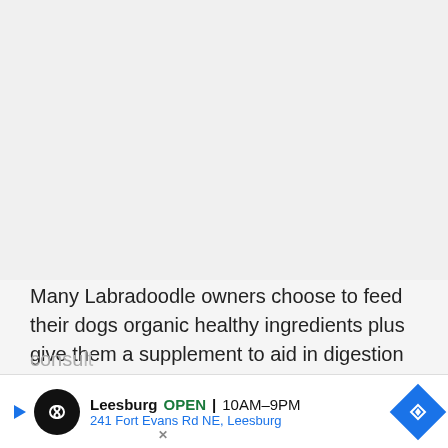[Figure (photo): Large image area at top of page, light gray placeholder]
Many Labradoodle owners choose to feed their dogs organic healthy ingredients plus give them a supplement to aid in digestion and provide essential fatty acids and vitamins. If you aren't sure what food to get for your dog, consu[lt a vet for] furthe[r advice please a]
[Figure (other): Advertisement banner: Leesburg OPEN 10AM–9PM, 241 Fort Evans Rd NE, Leesburg, with infinity logo and navigation diamond icon]